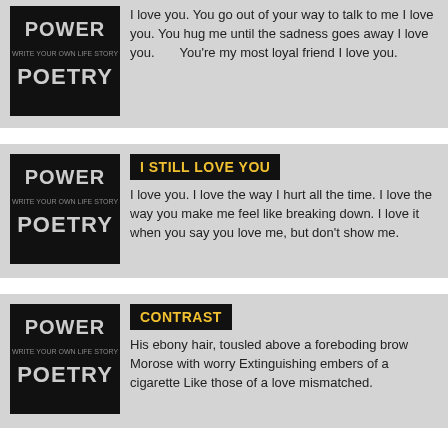I love you. You go out of your way to talk to me I love you. You hug me until the sadness goes away I love you.      You're my most loyal friend I love you.
I STILL LOVE YOU
I love you. I love the way I hurt all the time. I love the way you make me feel like breaking down. I love it when you say you love me, but don't show me.
CONTRAST
His ebony hair, tousled above a foreboding brow Morose with worry Extinguishing embers of a cigarette Like those of a love mismatched.